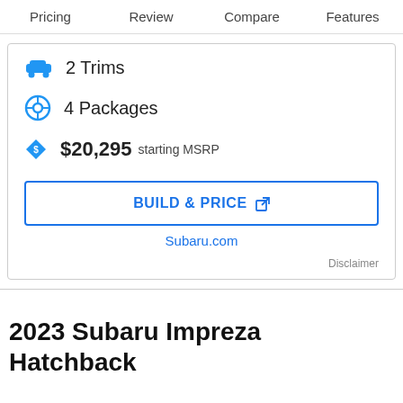Pricing   Review   Compare   Features
2 Trims
4 Packages
$20,295 starting MSRP
BUILD & PRICE ↗
Subaru.com
Disclaimer
2023 Subaru Impreza Hatchback